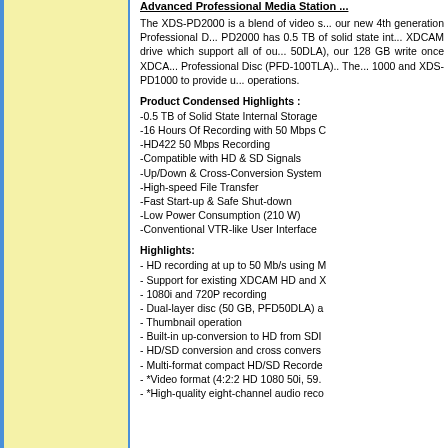[Figure (illustration): Yellow/cream colored left panel with blue vertical border lines on the left side]
Advanced Professional Media Station ...
The XDS-PD2000 is a blend of video s... our new 4th generation Professional D... PD2000 has 0.5 TB of solid state int... XDCAM drive which support all of ou... 50DLA), our 128 GB write once XDCA... Professional Disc (PFD-100TLA).. The... 1000 and XDS-PD1000 to provide u... operations.
Product Condensed Highlights :
-0.5 TB of Solid State Internal Storage
-16 Hours Of Recording with 50 Mbps C
-HD422 50 Mbps Recording
-Compatible with HD & SD Signals
-Up/Down & Cross-Conversion System
-High-speed File Transfer
-Fast Start-up & Safe Shut-down
-Low Power Consumption (210 W)
-Conventional VTR-like User Interface
Highlights:
- HD recording at up to 50 Mb/s using M
- Support for existing XDCAM HD and X
- 1080i and 720P recording
- Dual-layer disc (50 GB, PFD50DLA) a
- Thumbnail operation
- Built-in up-conversion to HD from SDI
- HD/SD conversion and cross convers
- Multi-format compact HD/SD Recorde
- *Video format (4:2:2 HD 1080 50i, 59.
- *High-quality eight-channel audio reco